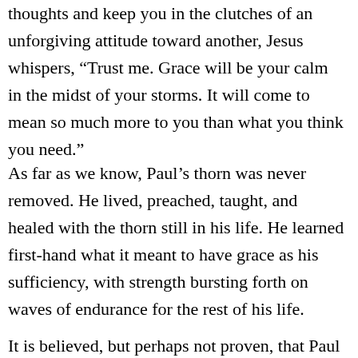thoughts and keep you in the clutches of an unforgiving attitude toward another, Jesus whispers, “Trust me. Grace will be your calm in the midst of your storms. It will come to mean so much more to you than what you think you need.”
As far as we know, Paul’s thorn was never removed. He lived, preached, taught, and healed with the thorn still in his life. He learned first-hand what it meant to have grace as his sufficiency, with strength bursting forth on waves of endurance for the rest of his life.
It is believed, but perhaps not proven, that Paul was